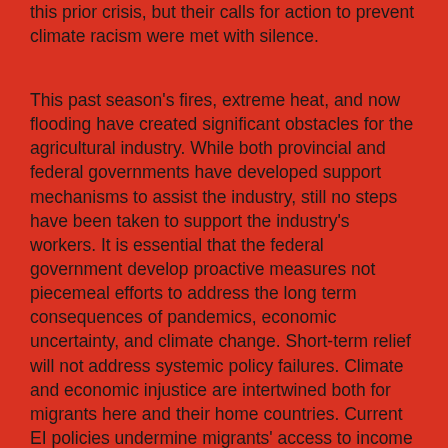this prior crisis, but their calls for action to prevent climate racism were met with silence.
This past season's fires, extreme heat, and now flooding have created significant obstacles for the agricultural industry. While both provincial and federal governments have developed support mechanisms to assist the industry, still no steps have been taken to support the industry's workers. It is essential that the federal government develop proactive measures not piecemeal efforts to address the long term consequences of pandemics, economic uncertainty, and climate change. Short-term relief will not address systemic policy failures. Climate and economic injustice are intertwined both for migrants here and their home countries. Current EI policies undermine migrants' access to income